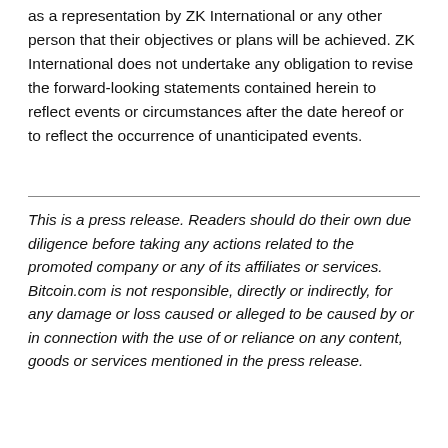as a representation by ZK International or any other person that their objectives or plans will be achieved. ZK International does not undertake any obligation to revise the forward-looking statements contained herein to reflect events or circumstances after the date hereof or to reflect the occurrence of unanticipated events.
This is a press release. Readers should do their own due diligence before taking any actions related to the promoted company or any of its affiliates or services. Bitcoin.com is not responsible, directly or indirectly, for any damage or loss caused or alleged to be caused by or in connection with the use of or reliance on any content, goods or services mentioned in the press release.